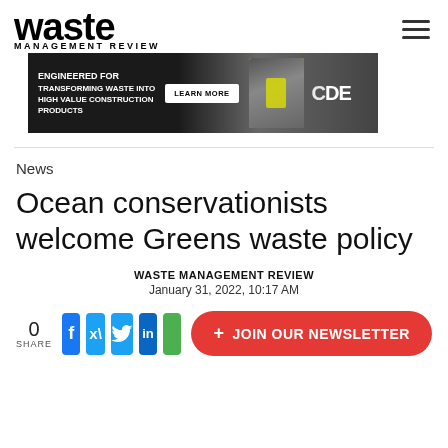waste MANAGEMENT REVIEW
[Figure (illustration): CDE advertisement banner: dark background with worker in yellow vest, text ENGINEERED FOR TRANSFORMING WASTE INTO HIGH VALUE CONSTRUCTION PRODUCTS, LEARN MORE button, CDE logo]
News
Ocean conservationists welcome Greens waste policy
WASTE MANAGEMENT REVIEW
January 31, 2022, 10:17 AM
0 SHARE
[Figure (illustration): Social share buttons: Facebook, Twitter, LinkedIn, green button, and JOIN OUR NEWSLETTER red pill button]